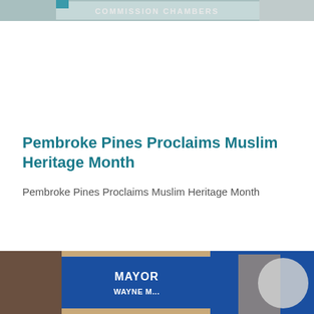[Figure (photo): Top portion of a photo showing a sign reading COMMISSION CHAMBERS]
Pembroke Pines Proclaims Muslim Heritage Month
Pembroke Pines Proclaims Muslim Heritage Month
[Figure (photo): Bottom portion of a photo showing a blue banner reading MAYOR WAYNE M... with a person visible on the right]